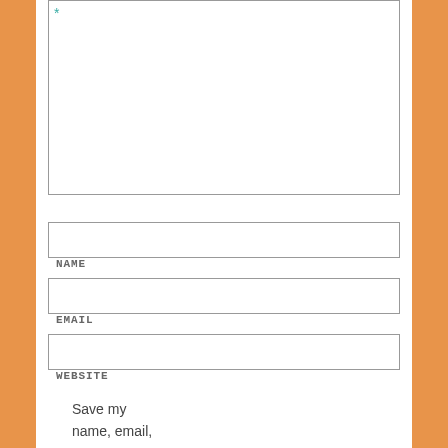*
NAME
EMAIL
WEBSITE
Save my name, email, and website in